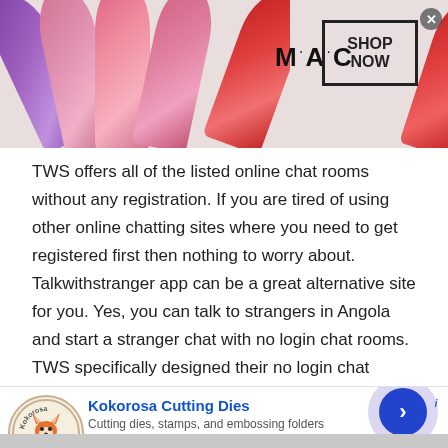[Figure (photo): Top banner advertisement for MAC cosmetics showing colorful lipsticks (purple, pink, red) on left, MAC logo in center, SHOP NOW button in a black border box on right.]
TWS offers all of the listed online chat rooms without any registration. If you are tired of using other online chatting sites where you need to get registered first then nothing to worry about. Talkwithstranger app can be a great alternative site for you. Yes, you can talk to strangers in Angola and start a stranger chat with no login chat rooms. TWS specifically designed their no login chat rooms for users who have a busy life schedule. In fact, we all are busy and don't have enough time to fill up the
[Figure (photo): Bottom banner advertisement for Kokorosa Cutting Dies showing the Kokorosa logo with a fox mascot, ad title 'Kokorosa Cutting Dies', description 'Cutting dies, stamps, and embossing folders', website kokorosastudio.com, and a blue arrow button on purple background circle.]